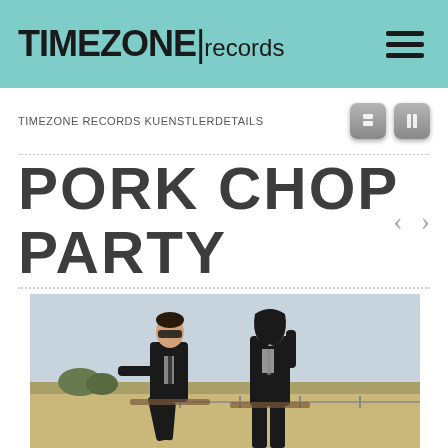TIMEZONE|records
TIMEZONE RECORDS KUENSTLERDETAILS
PORK CHOP PARTY
[Figure (photo): Two men in black suits and sunglasses sitting outdoors in a field; one reclines while the other sits upright; rural landscape background]